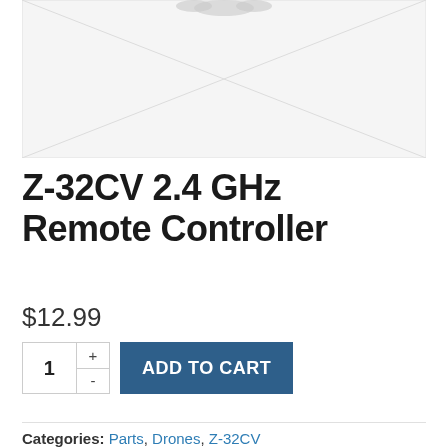[Figure (photo): Product image placeholder for Z-32CV 2.4 GHz Remote Controller — grey box with diagonal cross lines indicating no image loaded]
Z-32CV 2.4 GHz Remote Controller
$12.99
ADD TO CART (quantity: 1)
Categories: Parts, Drones, Z-32CV